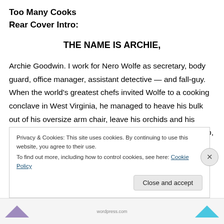Too Many Cooks
Rear Cover Intro:
THE NAME IS ARCHIE,
Archie Goodwin. I work for Nero Wolfe as secretary, body guard, office manager, assistant detective — and fall-guy. When the world's greatest chefs invited Wolfe to a cooking conclave in West Virginia, he managed to heave his bulk out of his oversize arm chair, leave his orchids and his office, to attend the gourmet gathering. It was worth the trip, until one of the chefs got a knife in his back
Privacy & Cookies: This site uses cookies. By continuing to use this website, you agree to their use.
To find out more, including how to control cookies, see here: Cookie Policy
Close and accept